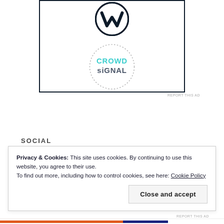[Figure (logo): WordPress W logo (dark navy) at the top of an ad box with a thick dark border]
[Figure (logo): Crowdsignal circular dotted-border logo with teal and gray text inside the ad box]
REPORT THIS AD
SOCIAL
Privacy & Cookies: This site uses cookies. By continuing to use this website, you agree to their use.
To find out more, including how to control cookies, see here: Cookie Policy
Close and accept